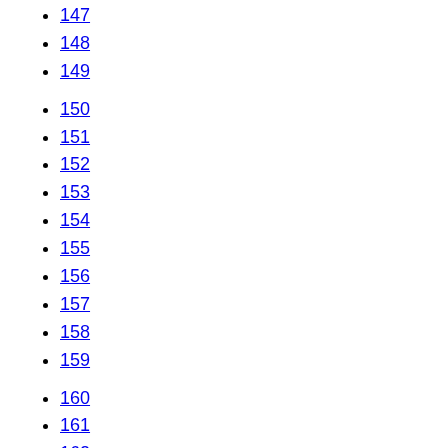147
148
149
150
151
152
153
154
155
156
157
158
159
160
161
162
163
164
165
166
167
168
169